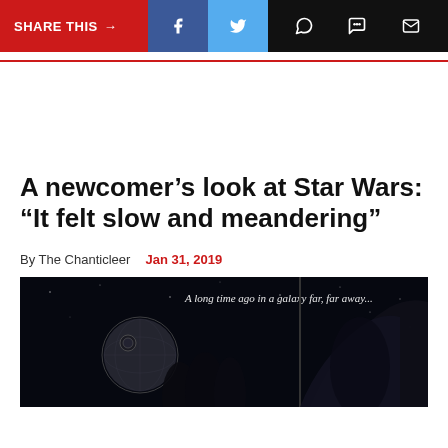SHARE THIS → f (Facebook) (Twitter) (WhatsApp) (Message) (Email)
A newcomer's look at Star Wars: “It felt slow and meandering”
By The Chanticleer   Jan 31, 2019
[Figure (photo): Star Wars movie poster image showing Death Star and silhouetted figures with text 'A long time ago in a galaxy far, far away...']